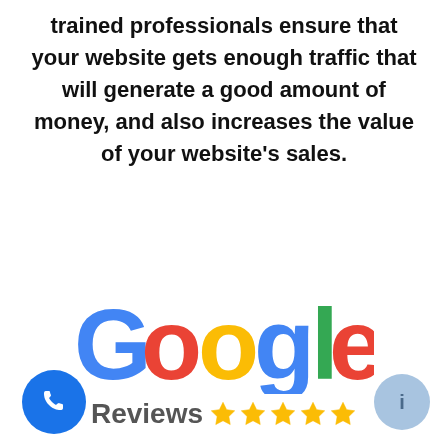trained professionals ensure that your website gets enough traffic that will generate a good amount of money, and also increases the value of your website's sales.
[Figure (logo): Google Reviews logo with five gold stars]